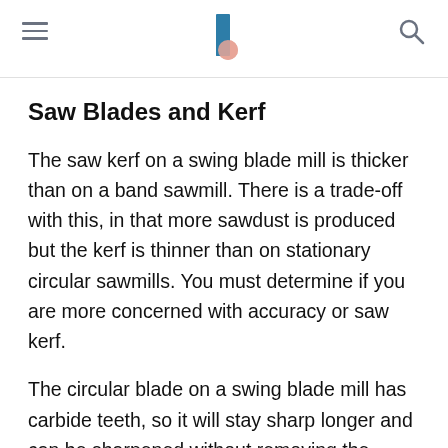[Navigation header with hamburger menu, logo, and search icon]
Saw Blades and Kerf
The saw kerf on a swing blade mill is thicker than on a band sawmill. There is a trade-off with this, in that more sawdust is produced but the kerf is thinner than on stationary circular sawmills. You must determine if you are more concerned with accuracy or saw kerf.
The circular blade on a swing blade mill has carbide teeth, so it will stay sharp longer and can be sharpened without removing the blade from the mill. Replacement blades are rather expensive, but they will last a very long time. It is best at cutting timber that is clean. If
Ad